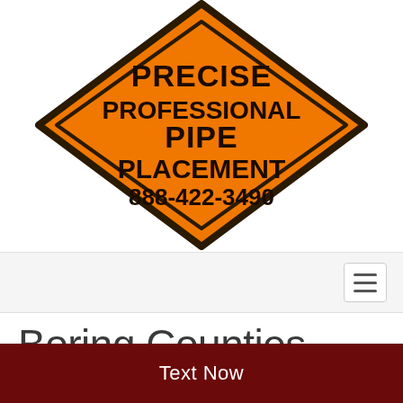[Figure (logo): Orange diamond-shaped construction sign logo reading: PRECISE PROFESSIONAL PIPE PLACEMENT 888-422-3490]
[Figure (screenshot): Navigation bar with hamburger menu icon on the right side]
Boring Counties Served
Text Now